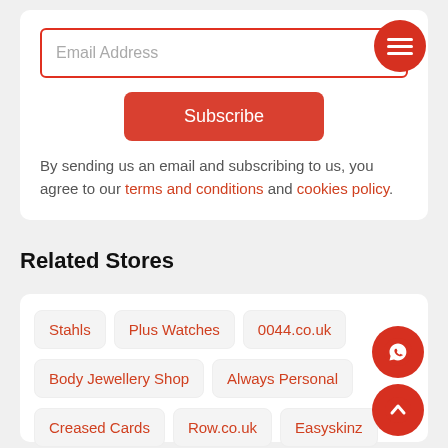Email Address
Subscribe
By sending us an email and subscribing to us, you agree to our terms and conditions and cookies policy.
Related Stores
Stahls
Plus Watches
0044.co.uk
Body Jewellery Shop
Always Personal
Creased Cards
Row.co.uk
Easyskinz
Specs365
Huggler
Cigabuy UK